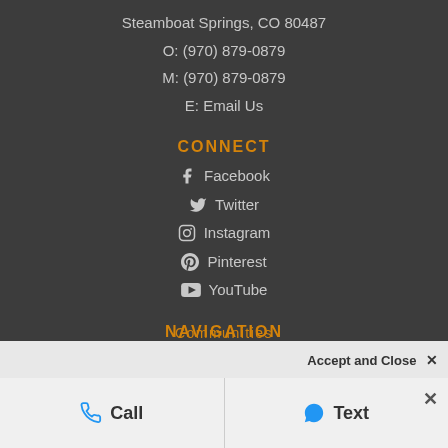Steamboat Springs, CO 80487
O: (970) 879-0879
M: (970) 879-0879
E: Email Us
CONNECT
Facebook
Twitter
Instagram
Pinterest
YouTube
NAVIGATION
Search
Communities
Accept and Close ✕
Call
Text
✕